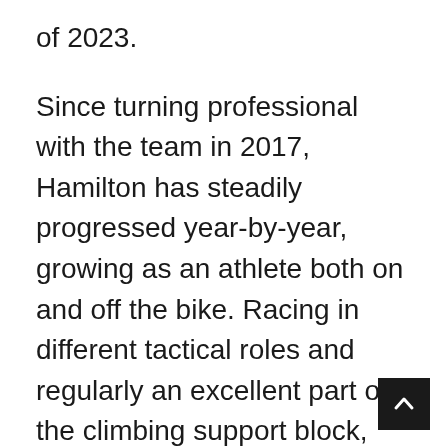of 2023.
Since turning professional with the team in 2017, Hamilton has steadily progressed year-by-year, growing as an athlete both on and off the bike. Racing in different tactical roles and regularly an excellent part of the climbing support block, Hamilton is more than happy to take on whatever role is needed at that race to contribute to bringing home the best possible results for the team; which is an incredibly valuable characteristic. Furthermore, when given the role to be the finisher on behalf of the team he has shown his quality and class on the bike, with sixth place on GC at the 2019 Tour Down Under where he also won the